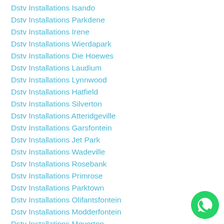Dstv Installations Isando
Dstv Installations Parkdene
Dstv Installations Irene
Dstv Installations Wierdapark
Dstv Installations Die Hoewes
Dstv Installations Laudium
Dstv Installations Lynnwood
Dstv Installations Hatfield
Dstv Installations Silverton
Dstv Installations Atteridgeville
Dstv Installations Garsfontein
Dstv Installations Jet Park
Dstv Installations Wadeville
Dstv Installations Rosebank
Dstv Installations Primrose
Dstv Installations Parktown
Dstv Installations Olifantsfontein
Dstv Installations Modderfontein
Dstv Installations Meyerton
[Figure (illustration): WhatsApp contact button (green circle with phone handset icon)]